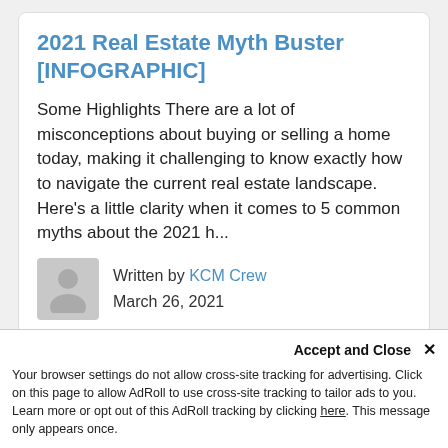2021 Real Estate Myth Buster [INFOGRAPHIC]
Some Highlights There are a lot of misconceptions about buying or selling a home today, making it challenging to know exactly how to navigate the current real estate landscape. Here’s a little clarity when it comes to 5 common myths about the 2021 h...
Written by KCM Crew
March 26, 2021
[Figure (photo): A blurred/dark photograph visible at the bottom of the second card]
Accept and Close ×
Your browser settings do not allow cross-site tracking for advertising. Click on this page to allow AdRoll to use cross-site tracking to tailor ads to you. Learn more or opt out of this AdRoll tracking by clicking here. This message only appears once.